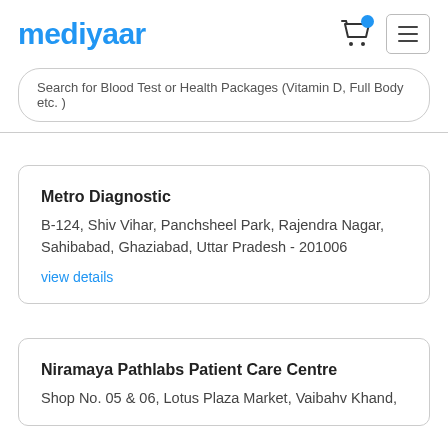mediyaar
Search for Blood Test or Health Packages (Vitamin D, Full Body etc. )
Metro Diagnostic
B-124, Shiv Vihar, Panchsheel Park, Rajendra Nagar, Sahibabad, Ghaziabad, Uttar Pradesh - 201006
view details
Niramaya Pathlabs Patient Care Centre
Shop No. 05 & 06, Lotus Plaza Market, Vaibahv Khand,